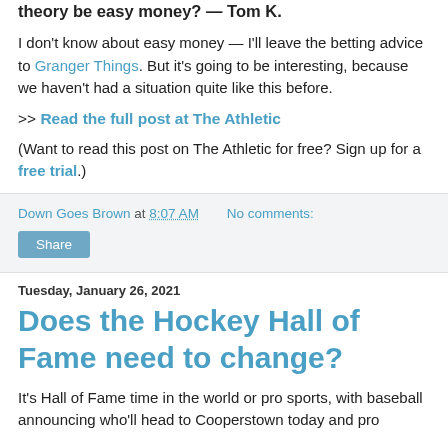theory be easy money? — Tom K.
I don't know about easy money — I'll leave the betting advice to Granger Things. But it's going to be interesting, because we haven't had a situation quite like this before.
>> Read the full post at The Athletic
(Want to read this post on The Athletic for free? Sign up for a free trial.)
Down Goes Brown at 8:07 AM    No comments:
Share
Tuesday, January 26, 2021
Does the Hockey Hall of Fame need to change?
It's Hall of Fame time in the world or pro sports, with baseball announcing who'll head to Cooperstown today and pro